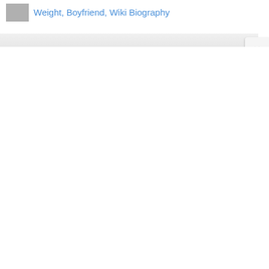Weight, Boyfriend, Wiki Biography
[Figure (screenshot): A close-up thumbnail image of a person, partially visible at the left side of the title bar]
×